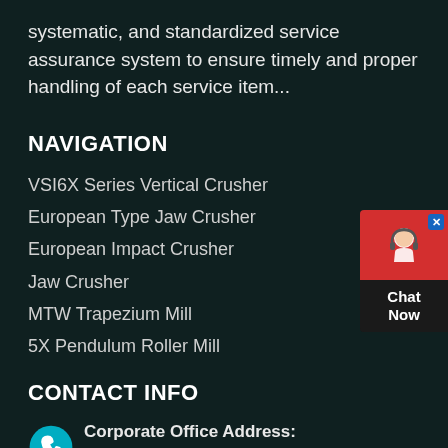systematic, and standardized service assurance system to ensure timely and proper handling of each service item...
NAVIGATION
VSI6X Series Vertical Crusher
European Type Jaw Crusher
European Impact Crusher
Jaw Crusher
MTW Trapezium Mill
5X Pendulum Roller Mill
CONTACT INFO
Corporate Office Address:
No.169, Science (Kexue) Avenue, National HI-TECH
[Figure (illustration): Chat Now widget with red background, headset avatar icon, blue close button, and 'Chat Now' text on dark background]